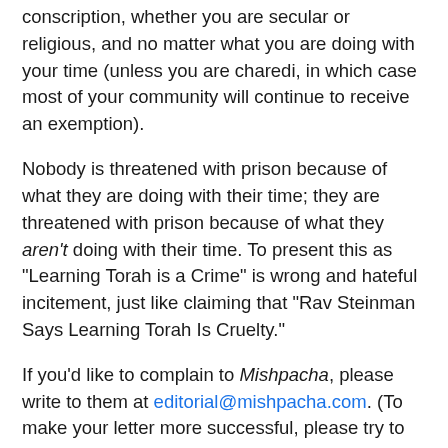conscription, whether you are secular or religious, and no matter what you are doing with your time (unless you are charedi, in which case most of your community will continue to receive an exemption).
Nobody is threatened with prison because of what they are doing with their time; they are threatened with prison because of what they aren't doing with their time. To present this as "Learning Torah is a Crime" is wrong and hateful incitement, just like claiming that "Rav Steinman Says Learning Torah Is Cruelty."
If you'd like to complain to Mishpacha, please write to them at editorial@mishpacha.com. (To make your letter more successful, please try to leave my name out of it.)
And if you've got a strong stomach, watch the video below about the rally, produced by Kikar Shabbat. The accompanying soundtrack and editing highlights the appalling consequences of arranging an event idealizing selfishness. Some people who were at the rally are protesting this video, but it's the inevitable outcome of the